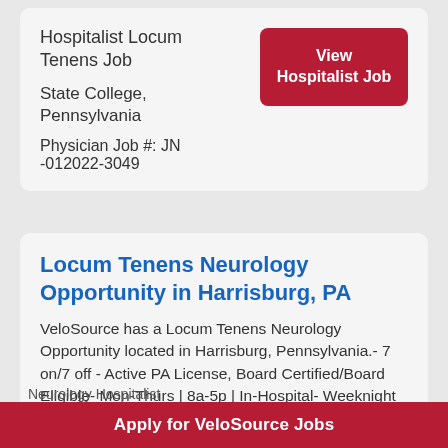Hospitalist Locum Tenens Job
State College, Pennsylvania
Physician Job #: JN -012022-3049
View Hospitalist Job
Locum Tenens Neurology Opportunity in Harrisburg, PA
VeloSource has a Locum Tenens Neurology Opportunity located in Harrisburg, Pennsylvania.- 7 on/7 off - Active PA License, Board Certified/Board Eligible- Mon-Thurs | 8a-5p | In-Hospital- Weeknight Call: Mon-Thurs... Read
Apply for VeloSource Jobs
Neurology Hospitalist